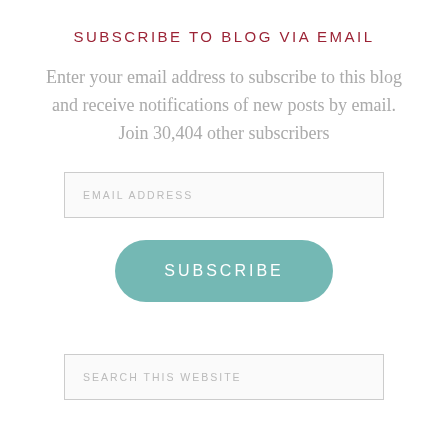SUBSCRIBE TO BLOG VIA EMAIL
Enter your email address to subscribe to this blog and receive notifications of new posts by email.
Join 30,404 other subscribers
[Figure (other): Email address input field with placeholder text 'EMAIL ADDRESS']
[Figure (other): Subscribe button with teal/muted green rounded pill shape and white uppercase text 'SUBSCRIBE']
[Figure (other): Search input field with placeholder text 'SEARCH THIS WEBSITE']